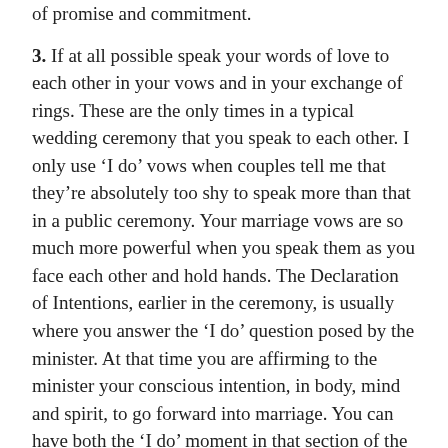of promise and commitment.
3. If at all possible speak your words of love to each other in your vows and in your exchange of rings. These are the only times in a typical wedding ceremony that you speak to each other. I only use ‘I do’ vows when couples tell me that they’re absolutely too shy to speak more than that in a public ceremony. Your marriage vows are so much more powerful when you speak them as you face each other and hold hands. The Declaration of Intentions, earlier in the ceremony, is usually where you answer the ‘I do’ question posed by the minister. At that time you are affirming to the minister your conscious intention, in body, mind and spirit, to go forward into marriage. You can have both the ‘I do’ moment in that section of the ceremony and your spoken vows a little later in the ceremony!
4. Consider how you want to say your vows. Couples